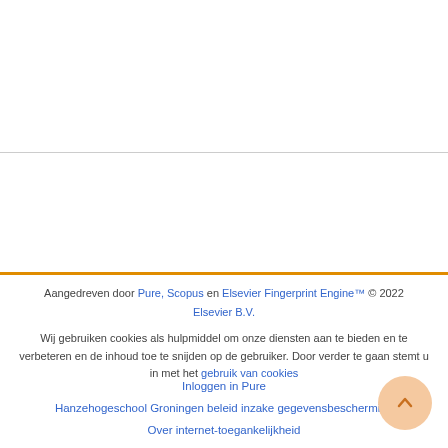Aangedreven door Pure, Scopus en Elsevier Fingerprint Engine™ © 2022 Elsevier B.V.
Wij gebruiken cookies als hulpmiddel om onze diensten aan te bieden en te verbeteren en de inhoud toe te snijden op de gebruiker. Door verder te gaan stemt u in met het gebruik van cookies
Inloggen in Pure
Hanzehogeschool Groningen beleid inzake gegevensbescherming
Over internet-toegankelijkheid